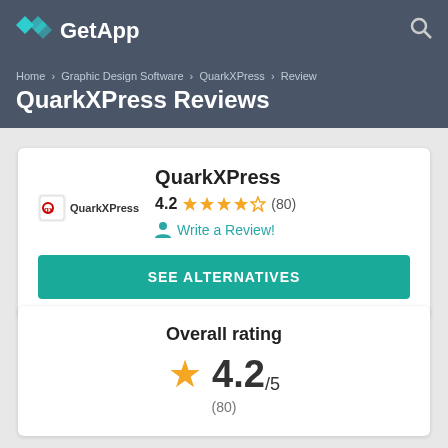GetApp
Home › Graphic Design Software › QuarkXPress › Review
QuarkXPress Reviews
QuarkXPress
4.2 ★★★★☆ (80)
Write a Review!
SEE ALTERNATIVES
Overall rating
4.2/5
(80)